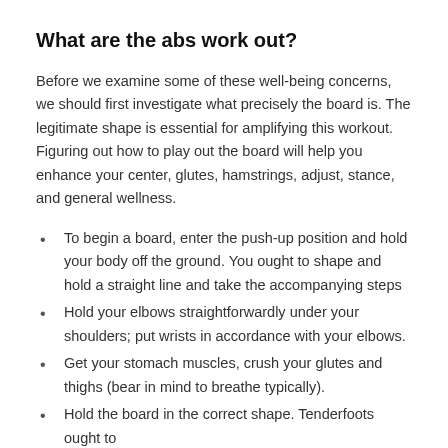What are the abs work out?
Before we examine some of these well-being concerns, we should first investigate what precisely the board is. The legitimate shape is essential for amplifying this workout. Figuring out how to play out the board will help you enhance your center, glutes, hamstrings, adjust, stance, and general wellness.
To begin a board, enter the push-up position and hold your body off the ground. You ought to shape and hold a straight line and take the accompanying steps
Hold your elbows straightforwardly under your shoulders; put wrists in accordance with your elbows.
Get your stomach muscles, crush your glutes and thighs (bear in mind to breathe typically).
Hold the board in the correct shape. Tenderfoots ought to